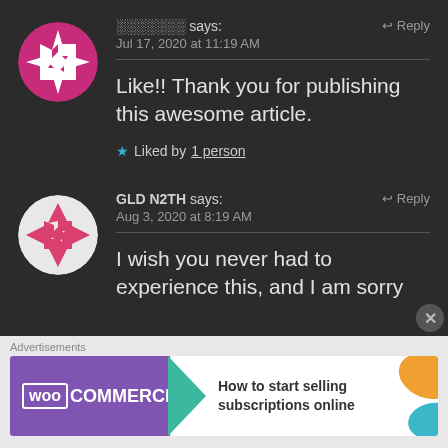░░░░░░░ says:  ↩ Reply
Jul 17, 2020 at 11:19 AM
Like!! Thank you for publishing this awesome article.
★ Liked by 1 person
GLD N2TH says:  ↩ Reply
Aug 3, 2020 at 8:19 AM
I wish you never had to experience this, and I am sorry
Advertisements
[Figure (screenshot): WooCommerce advertisement banner: purple WooCommerce logo with green arrow, text 'How to start selling subscriptions online', orange decorative shape on right]